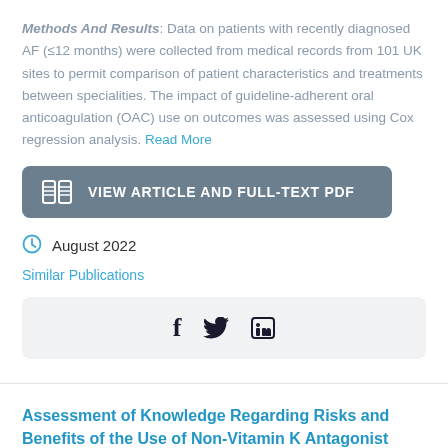Methods And Results: Data on patients with recently diagnosed AF (≤12 months) were collected from medical records from 101 UK sites to permit comparison of patient characteristics and treatments between specialities. The impact of guideline-adherent oral anticoagulation (OAC) use on outcomes was assessed using Cox regression analysis. Read More
[Figure (other): Button: VIEW ARTICLE AND FULL-TEXT PDF with book icon on grey-blue background]
August 2022
Similar Publications
[Figure (other): Social sharing bar with Facebook, Twitter, and LinkedIn icons on light grey background]
Assessment of Knowledge Regarding Risks and Benefits of the Use of Non-Vitamin K Antagonist